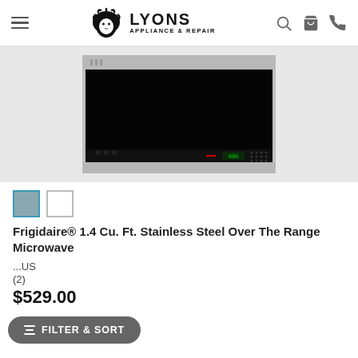Lyons Appliance & Repair
[Figure (photo): Frigidaire stainless steel over-the-range microwave, front view showing black glass door and control panel]
[Figure (other): Two color swatches: stainless steel (blue-tinted gray) and white]
Frigidaire® 1.4 Cu. Ft. Stainless Steel Over The Range Microwave
...US
(2)
$529.00